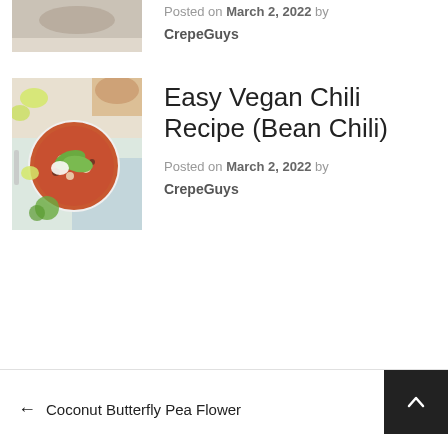[Figure (photo): Partial view of a food photo (top of page, cropped) showing a dish in a bowl on a wooden surface]
Posted on March 2, 2022 by CrepeGuys
[Figure (photo): Bowl of vegan bean chili topped with avocado slices and sour cream, with lime wedges, cilantro, and bread visible around the bowl]
Easy Vegan Chili Recipe (Bean Chili)
Posted on March 2, 2022 by CrepeGuys
← Coconut Butterfly Pea Flower